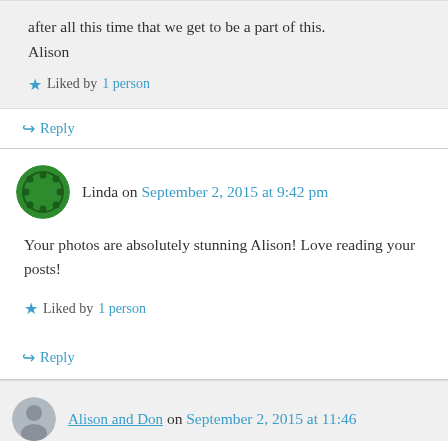after all this time that we get to be a part of this.
Alison
Liked by 1 person
Reply
Linda on September 2, 2015 at 9:42 pm
Your photos are absolutely stunning Alison! Love reading your posts!
Liked by 1 person
Reply
Alison and Don on September 2, 2015 at 11:46